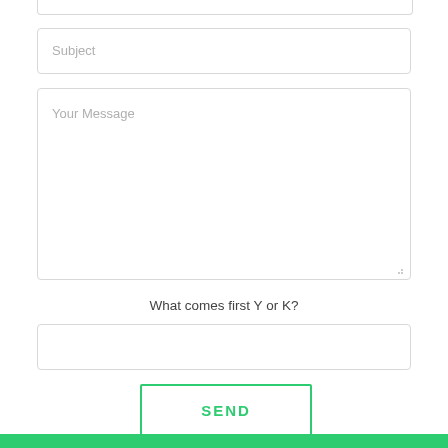[Figure (screenshot): Top of a partially visible input field (cropped at top of page)]
Subject
Your Message
What comes first Y or K?
SEND